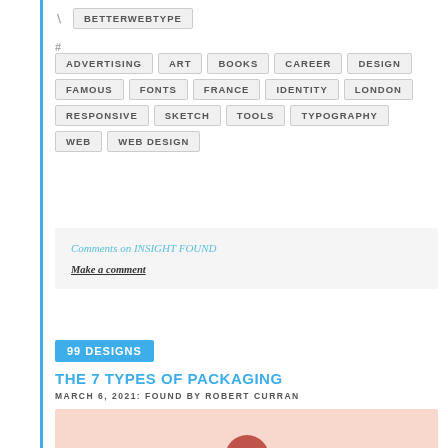BETTERWEBTYPE
ADVERTISING, ART, BOOKS, CAREER, DESIGN, FAMOUS, FONTS, FRANCE, IDENTITY, LONDON, RESPONSIVE, SKETCH, TOOLS, TYPOGRAPHY, WEB, WEB DESIGN
Comments on INSIGHT FOUND
Make a comment
99 DESIGNS
THE 7 TYPES OF PACKAGING
MARCH 6, 2021: FOUND BY ROBERT CURRAN
[Figure (illustration): Pink background with a dark red/maroon circular shape at the bottom center]